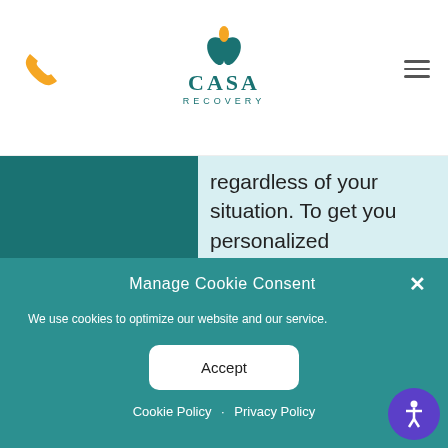[Figure (logo): CASA Recovery logo with teal leaf/flame icon above stylized text CASA RECOVERY]
[Figure (illustration): Orange phone handset icon on left side of header]
regardless of your situation. To get you personalized recommendations I need to know a little more info. Are you a new or existing patient?
Southern California
Quick Links
Manage Cookie Consent
We use cookies to optimize our website and our service.
Accept
Cookie Policy · Privacy Policy